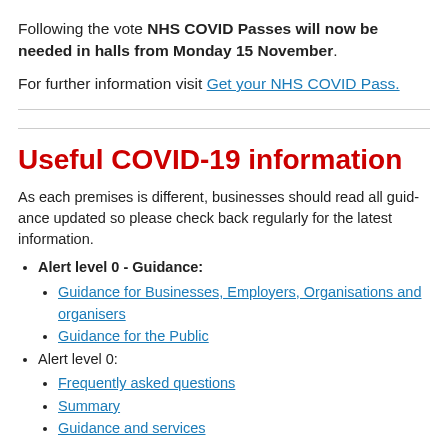Following the vote NHS COVID Passes will now be needed in halls from Monday 15 November.
For further information visit Get your NHS COVID Pass.
Useful COVID-19 information
As each premises is different, businesses should read all guidance updated so please check back regularly for the latest information.
Alert level 0 - Guidance:
Guidance for Businesses, Employers, Organisations and organisers
Guidance for the Public
Alert level 0:
Frequently asked questions
Summary
Guidance and services